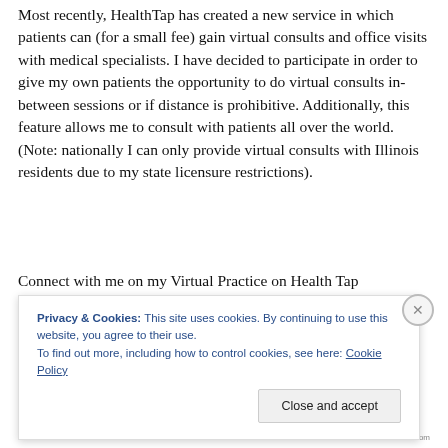Most recently, HealthTap has created a new service in which patients can (for a small fee) gain virtual consults and office visits with medical specialists. I have decided to participate in order to give my own patients the opportunity to do virtual consults in-between sessions or if distance is prohibitive. Additionally, this feature allows me to consult with patients all over the world. (Note: nationally I can only provide virtual consults with Illinois residents due to my state licensure restrictions).
Connect with me on my Virtual Practice on Health Tap
Privacy & Cookies: This site uses cookies. By continuing to use this website, you agree to their use.
To find out more, including how to control cookies, see here: Cookie Policy